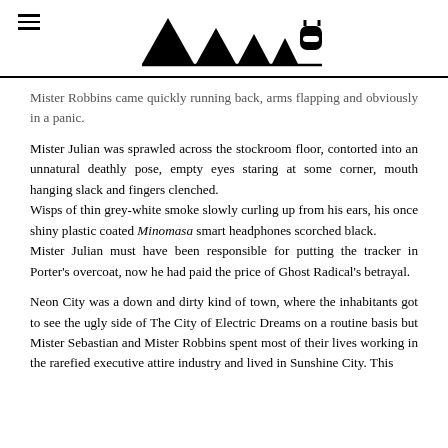[Logo: four triangles and a rounded shape] [Hamburger menu icon]
Mister Robbins came quickly running back, arms flapping and obviously in a panic.
Mister Julian was sprawled across the stockroom floor, contorted into an unnatural deathly pose, empty eyes staring at some corner, mouth hanging slack and fingers clenched.
Wisps of thin grey-white smoke slowly curling up from his ears, his once shiny plastic coated Minomasa smart headphones scorched black.
Mister Julian must have been responsible for putting the tracker in Porter's overcoat, now he had paid the price of Ghost Radical's betrayal.
Neon City was a down and dirty kind of town, where the inhabitants got to see the ugly side of The City of Electric Dreams on a routine basis but Mister Sebastian and Mister Robbins spent most of their lives working in the rarefied executive attire industry and lived in Sunshine City. This